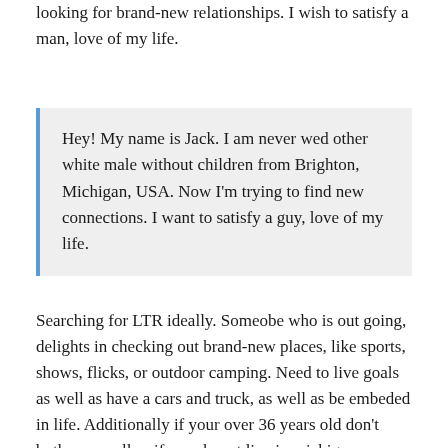looking for brand-new relationships. I wish to satisfy a man, love of my life.
Hey! My name is Jack. I am never wed other white male without children from Brighton, Michigan, USA. Now I'm trying to find new connections. I want to satisfy a guy, love of my life.
Searching for LTR ideally. Someobe who is out going, delights in checking out brand-new places, like sports, shows, flicks, or outdoor camping. Need to live goals as well as have a cars and truck, as well as be embeded in life. Additionally if your over 36 years old don't bother as well as if you do not live in michigan never mind. Text me *** if your interested and are within the
[Figure (illustration): Cartoon illustration of two animal characters on a purple/lavender background with sparkle/star decorations]